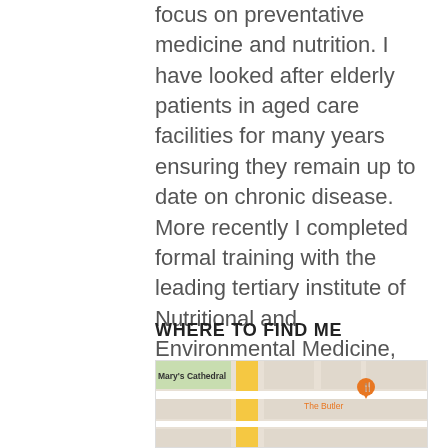focus on preventative medicine and nutrition. I have looked after elderly patients in aged care facilities for many years ensuring they remain up to date on chronic disease. More recently I completed formal training with the leading tertiary institute of Nutritional and Environmental Medicine, (A.C.N.E.M.).
WHERE TO FIND ME
[Figure (map): Street map showing Mary's Cathedral and The Butler restaurant marker]